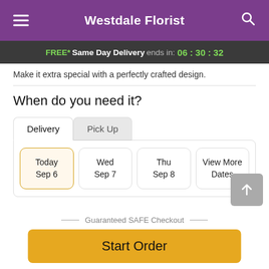Westdale Florist
FREE* Same Day Delivery ends in: 06:30:32
Make it extra special with a perfectly crafted design.
When do you need it?
Delivery | Pick Up
Today Sep 6 | Wed Sep 7 | Thu Sep 8 | View More Dates
Guaranteed SAFE Checkout
Start Order